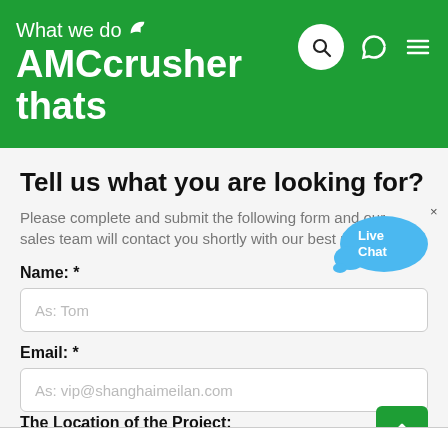What we do AMC stone crusher thats
Tell us what you are looking for?
Please complete and submit the following form and our sales team will contact you shortly with our best price.
Name: *
As: Tom
Email: *
As: vip@shanghaimeilan.com
Phone: *
With Country Code
The Location of the Project: